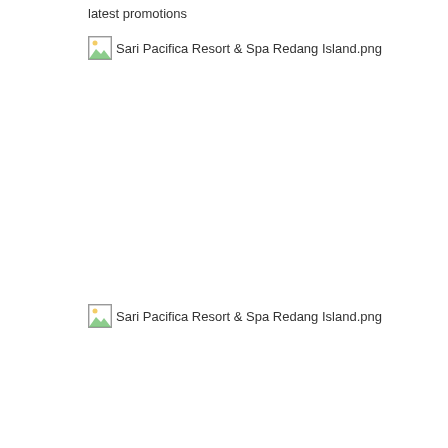latest promotions
[Figure (other): Broken image placeholder with alt text: Sari Pacifica Resort & Spa Redang Island.png]
[Figure (other): Broken image placeholder with alt text: Sari Pacifica Resort & Spa Redang Island.png]